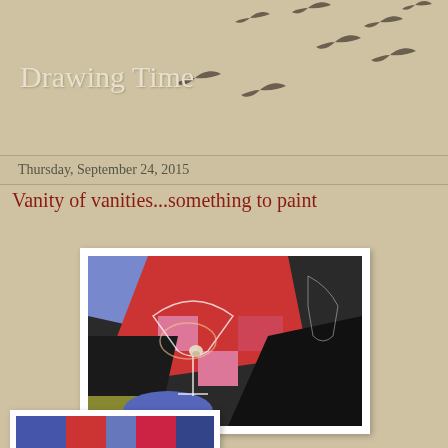Drawing Time
[Figure (illustration): Silhouettes of birds in flight scattered across the upper right area of the header]
Thursday, September 24, 2015
Vanity of vanities...something to paint
[Figure (photo): A painting showing a martini glass with a skull inside, set against a colorful geometric background with red, black, blue and pink checker-like pattern]
[Figure (photo): Partial view of another painting with blue and red tones visible at the bottom of the page]